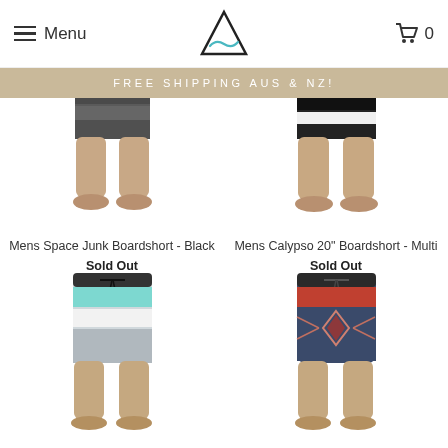Menu | [Logo] | Cart 0
FREE SHIPPING AUS & NZ!
[Figure (photo): Man wearing dark grey/black striped boardshorts - Space Junk Boardshort Black]
Mens Space Junk Boardshort - Black
Sold Out
[Figure (photo): Man wearing black and white striped boardshorts with floral waistband - Calypso 20 inch Boardshort Multi]
Mens Calypso 20" Boardshort - Multi
Sold Out
[Figure (photo): Man wearing light blue and grey striped boardshorts with black drawstring]
[Figure (photo): Man wearing red/rust and blue patterned boardshorts with black drawstring]